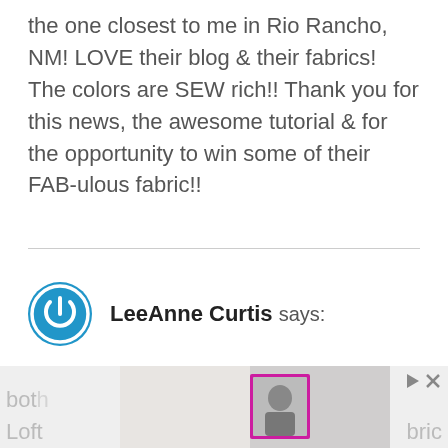the one closest to me in Rio Rancho, NM! LOVE their blog & their fabrics! The colors are SEW rich!! Thank you for this news, the awesome tutorial & for the opportunity to win some of their FAB-ulous fabric!!
LeeAnne Curtis says:
My local Targets (2) do not carry it in Greensboro, NC. I have requested it at both... fabric Loft...
[Figure (other): Advertisement banner overlay at bottom of page showing a partial image with a woman and pink-bordered inset photo, with close/skip buttons]